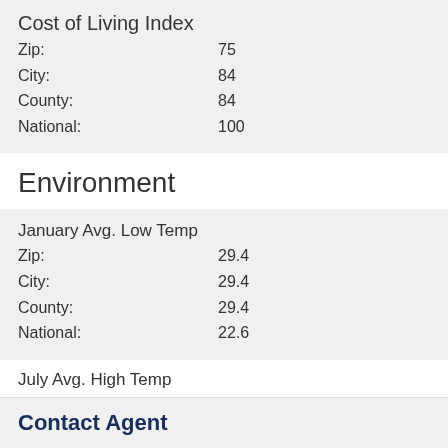Cost of Living Index
Zip: 75
City: 84
County: 84
National: 100
Environment
January Avg. Low Temp
Zip: 29.4
City: 29.4
County: 29.4
National: 22.6
July Avg. High Temp
Zip: 90.6
City: 90.6
County: 90.6
National: 86.1
Contact Agent